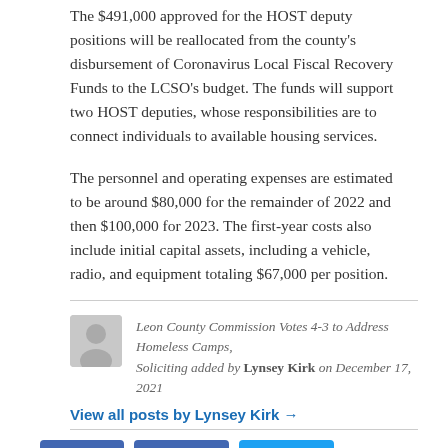The $491,000 approved for the HOST deputy positions will be reallocated from the county's disbursement of Coronavirus Local Fiscal Recovery Funds to the LCSO's budget. The funds will support two HOST deputies, whose responsibilities are to connect individuals to available housing services.
The personnel and operating expenses are estimated to be around $80,000 for the remainder of 2022 and then $100,000 for 2023. The first-year costs also include initial capital assets, including a vehicle, radio, and equipment totaling $67,000 per position.
Leon County Commission Votes 4-3 to Address Homeless Camps, Soliciting added by Lynsey Kirk on December 17, 2021
View all posts by Lynsey Kirk →
21 Responses to "Leon County Commission